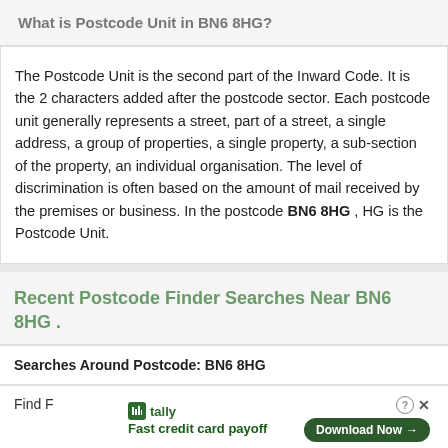What is Postcode Unit in BN6 8HG?
The Postcode Unit is the second part of the Inward Code. It is the 2 characters added after the postcode sector. Each postcode unit generally represents a street, part of a street, a single address, a group of properties, a single property, a sub-section of the property, an individual organisation. The level of discrimination is often based on the amount of mail received by the premises or business. In the postcode BN6 8HG , HG is the Postcode Unit.
Recent Postcode Finder Searches Near BN6 8HG .
Searches Around Postcode: BN6 8HG
Find F
[Figure (other): Tally advertisement overlay with logo, 'Fast credit card payoff' tagline, and Download Now button]
Sears